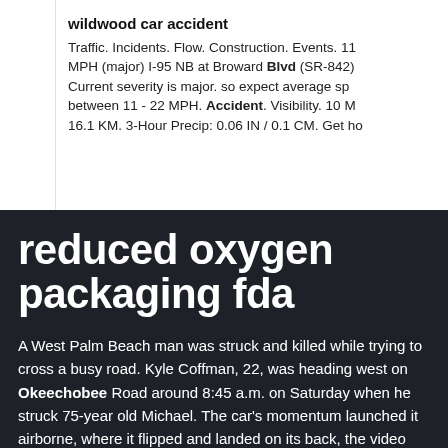wildwood car accident
Traffic. Incidents. Flow. Construction. Events. 11 MPH (major) I-95 NB at Broward Blvd (SR-842) Current severity is major. so expect average sp between 11 - 22 MPH. Accident. Visibility. 10 M 16.1 KM. 3-Hour Precip: 0.06 IN / 0.1 CM. Get ho
reduced oxygen packaging fda
A West Palm Beach man was struck and killed while trying to cross a busy road. Kyle Coffman, 22, was heading west on Okeechobee Road around 8:45 a.m. on Saturday when he struck 75-year old Michael. The car's momentum launched it airborne, where it flipped and landed on its back, the video showed," Fox News explained. "The Raptor truck continued driving along the highway.".